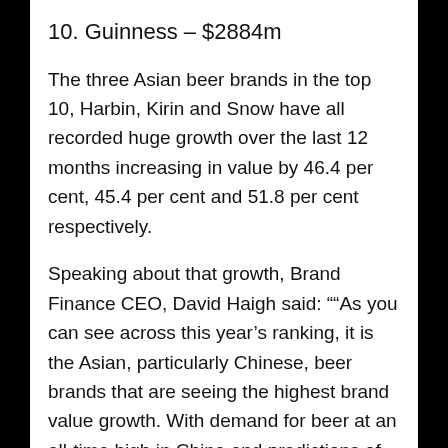10. Guinness – $2884m
The three Asian beer brands in the top 10, Harbin, Kirin and Snow have all recorded huge growth over the last 12 months increasing in value by 46.4 per cent, 45.4 per cent and 51.8 per cent respectively.
Speaking about that growth, Brand Finance CEO, David Haigh said: "“As you can see across this year’s ranking, it is the Asian, particularly Chinese, beer brands that are seeing the highest brand value growth. With demand for beer at an all-time high in China and predictions of inflated growth over the